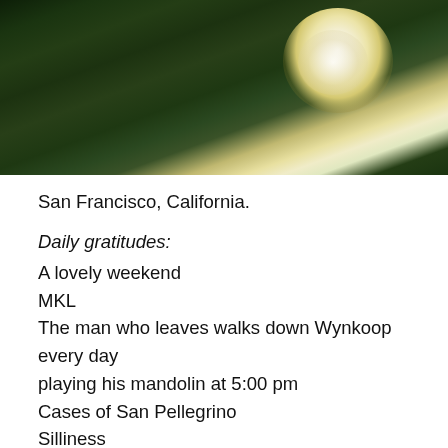[Figure (photo): Close-up photo of green foliage with white and yellow flowers/blooms in the upper right area, dark background]
San Francisco, California.
Daily gratitudes:
A lovely weekend
MKL
The man who leaves walks down Wynkoop every day playing his mandolin at 5:00 pm
Cases of San Pellegrino
Silliness
Instead of a quote of the day, I have a request: Please send prayers to Sarah Bennett, one of Kelsea's friends who was seriously injured in a car accident during the